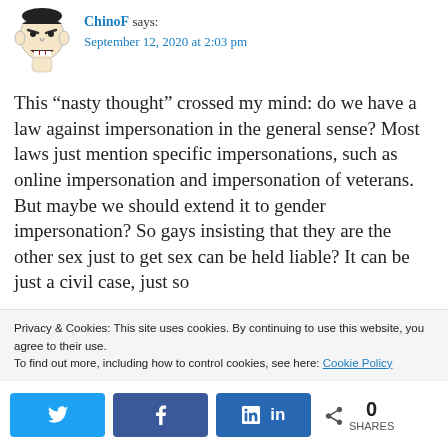[Figure (illustration): Cartoon avatar of a person with mouth open, 'rage face' meme style illustration]
ChinoF says: September 12, 2020 at 2:03 pm
This “nasty thought” crossed my mind: do we have a law against impersonation in the general sense? Most laws just mention specific impersonations, such as online impersonation and impersonation of veterans. But maybe we should extend it to gender impersonation? So gays insisting that they are the other sex just to get sex can be held liable? It can be just a civil case, just so
Privacy & Cookies: This site uses cookies. By continuing to use this website, you agree to their use.
To find out more, including how to control cookies, see here: Cookie Policy
0 SHARES